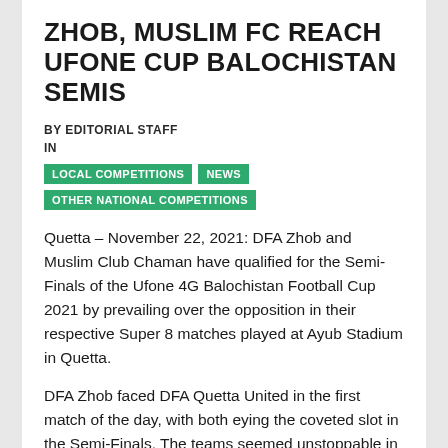ZHOB, MUSLIM FC REACH UFONE CUP BALOCHISTAN SEMIS
BY EDITORIAL STAFF
IN
LOCAL COMPETITIONS
NEWS
OTHER NATIONAL COMPETITIONS
Quetta – November 22, 2021: DFA Zhob and Muslim Club Chaman have qualified for the Semi-Finals of the Ufone 4G Balochistan Football Cup 2021 by prevailing over the opposition in their respective Super 8 matches played at Ayub Stadium in Quetta.
DFA Zhob faced DFA Quetta United in the first match of the day, with both eying the coveted slot in the Semi-Finals. The teams seemed unstoppable in their pursuit of glory as both launched fierce attacks on opponent goalposts. At the same time, they defended their own goalposts with everything.